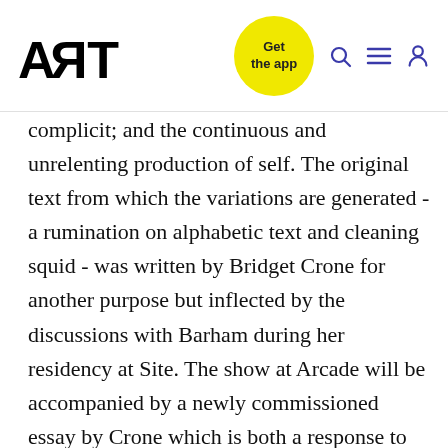ART — Get the app
complicit; and the continuous and unrelenting production of self. The original text from which the variations are generated - a rumination on alphabetic text and cleaning squid - was written by Bridget Crone for another purpose but inflected by the discussions with Barham during her residency at Site. The show at Arcade will be accompanied by a newly commissioned essay by Crone which is both a response to the work and the result of the pair's continued dialogue over the last six months. Double Screen (2013) was Co-Commissioned by Site Gallery and Wysing Arts Centre with funding from Arts Council England and the Paul